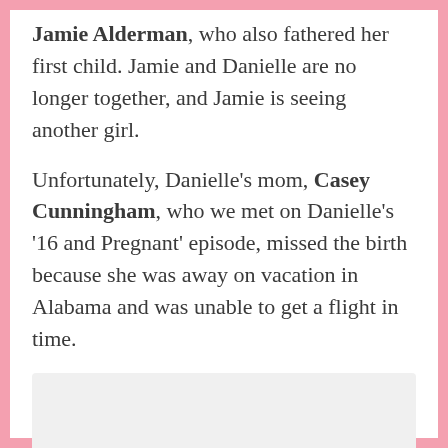Jamie Alderman, who also fathered her first child. Jamie and Danielle are no longer together, and Jamie is seeing another girl.
Unfortunately, Danielle's mom, Casey Cunningham, who we met on Danielle's '16 and Pregnant' episode, missed the birth because she was away on vacation in Alabama and was unable to get a flight in time.